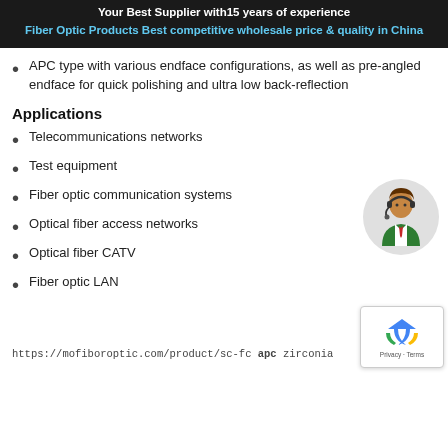Your Best Supplier with15 years of experience
Fiber Optic Products Best competitive wholesale price & quality in China
APC type with various endface configurations, as well as pre-angled endface for quick polishing and ultra low back-reflection
Applications
Telecommunications networks
Test equipment
Fiber optic communication systems
Optical fiber access networks
Optical fiber CATV
Fiber optic LAN
[Figure (illustration): Customer service representative icon in a grey circle]
[Figure (logo): Google reCAPTCHA badge with recycling arrow icon and Privacy - Terms text]
https://mofiboroptic.com/product/sc-fc apc zirconia